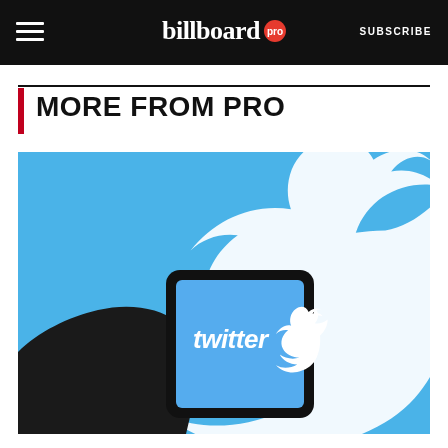billboard pro  SUBSCRIBE
MORE FROM PRO
[Figure (photo): A silhouetted hand holding a smartphone displaying the Twitter logo and wordmark, with a large white Twitter bird logo on a blue background behind it.]